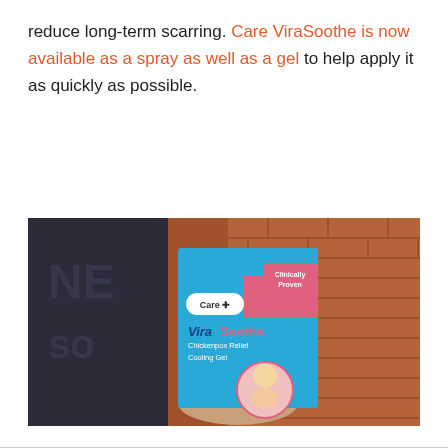reduce long-term scarring. Care ViraSoothe is now available as a spray as well as a gel to help apply it as quickly as possible.
[Figure (photo): A hand holding a blue box of Care ViraSoothe Chickenpox Relief Cooling Gel against a brick wall background. The box shows the product name, 'Clinically Proven' badge, and a photo of a young child smiling.]